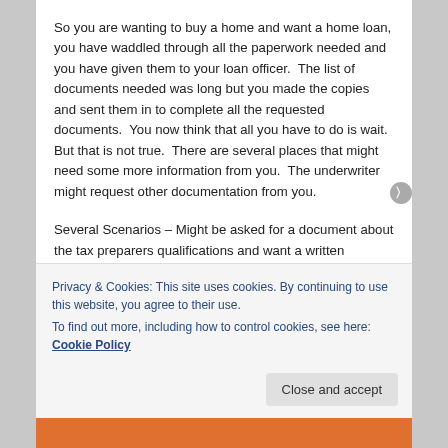So you are wanting to buy a home and want a home loan, you have waddled through all the paperwork needed and you have given them to your loan officer.  The list of documents needed was long but you made the copies and sent them in to complete all the requested documents.  You now think that all you have to do is wait.  But that is not true.  There are several places that might need some more information from you.  The underwriter might request other documentation from you.
Several Scenarios – Might be asked for a document about the tax preparers qualifications and want a written explanation of tax basis.
Privacy & Cookies: This site uses cookies. By continuing to use this website, you agree to their use.
To find out more, including how to control cookies, see here: Cookie Policy